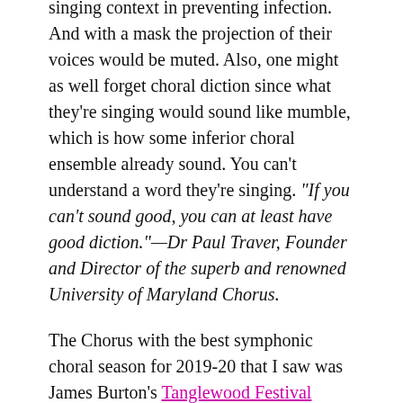singing context in preventing infection. And with a mask the projection of their voices would be muted. Also, one might as well forget choral diction since what they're singing would sound like mumble, which is how some inferior choral ensemble already sound. You can't understand a word they're singing. "If you can't sound good, you can at least have good diction."—Dr Paul Traver, Founder and Director of the superb and renowned University of Maryland Chorus.
The Chorus with the best symphonic choral season for 2019-20 that I saw was James Burton's Tanglewood Festival Chorus (TFC), the Official Chorus of the Boston Symphony Orchestra and Boston Pops. Their repertoire was not a repeat of the same old repertoire. It was quite a good season and I had wondered if that was due to James's influence with the Boston Symphony Orchestra? But unfortunately